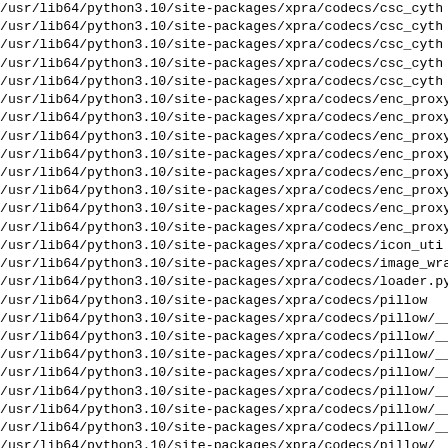/usr/lib64/python3.10/site-packages/xpra/codecs/csc_cyth
/usr/lib64/python3.10/site-packages/xpra/codecs/csc_cyth
/usr/lib64/python3.10/site-packages/xpra/codecs/csc_cyth
/usr/lib64/python3.10/site-packages/xpra/codecs/csc_cyth
/usr/lib64/python3.10/site-packages/xpra/codecs/csc_cyth
/usr/lib64/python3.10/site-packages/xpra/codecs/enc_proxy
/usr/lib64/python3.10/site-packages/xpra/codecs/enc_proxy
/usr/lib64/python3.10/site-packages/xpra/codecs/enc_proxy
/usr/lib64/python3.10/site-packages/xpra/codecs/enc_proxy
/usr/lib64/python3.10/site-packages/xpra/codecs/enc_proxy
/usr/lib64/python3.10/site-packages/xpra/codecs/enc_proxy
/usr/lib64/python3.10/site-packages/xpra/codecs/enc_proxy
/usr/lib64/python3.10/site-packages/xpra/codecs/enc_proxy
/usr/lib64/python3.10/site-packages/xpra/codecs/icon_util
/usr/lib64/python3.10/site-packages/xpra/codecs/image_wra
/usr/lib64/python3.10/site-packages/xpra/codecs/loader.py
/usr/lib64/python3.10/site-packages/xpra/codecs/pillow
/usr/lib64/python3.10/site-packages/xpra/codecs/pillow/__
/usr/lib64/python3.10/site-packages/xpra/codecs/pillow/__
/usr/lib64/python3.10/site-packages/xpra/codecs/pillow/__
/usr/lib64/python3.10/site-packages/xpra/codecs/pillow/__
/usr/lib64/python3.10/site-packages/xpra/codecs/pillow/__
/usr/lib64/python3.10/site-packages/xpra/codecs/pillow/__
/usr/lib64/python3.10/site-packages/xpra/codecs/pillow/__
/usr/lib64/python3.10/site-packages/xpra/codecs/pillow/__
/usr/lib64/python3.10/site-packages/xpra/codecs/pillow/de
/usr/lib64/python3.10/site-packages/xpra/codecs/pillow/en
/usr/lib64/python3.10/site-packages/xpra/codecs/rgb_trans
/usr/lib64/python3.10/site-packages/xpra/codecs/v412
/usr/lib64/python3.10/site-packages/xpra/codecs/v412/